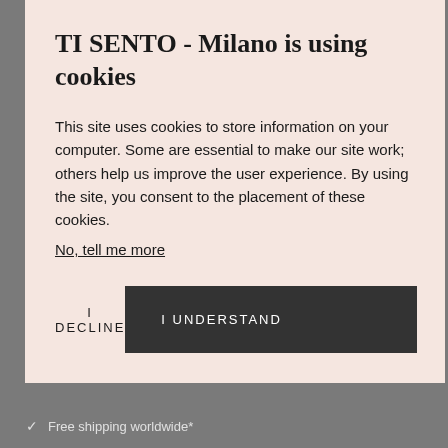TI SENTO - Milano is using cookies
This site uses cookies to store information on your computer. Some are essential to make our site work; others help us improve the user experience. By using the site, you consent to the placement of these cookies.
No, tell me more
I DECLINE
I UNDERSTAND
Free shipping worldwide*